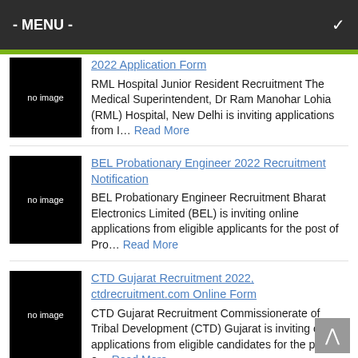- MENU -
2022 Application Form
[Figure (other): no image placeholder black box]
RML Hospital Junior Resident Recruitment The Medical Superintendent, Dr Ram Manohar Lohia (RML) Hospital, New Delhi is inviting applications from I… Read More
BEL Probationary Engineer 2022 Recruitment Notification
[Figure (other): no image placeholder black box]
BEL Probationary Engineer Recruitment Bharat Electronics Limited (BEL) is inviting online applications from eligible applicants for the post of Pro… Read More
CTD Gujarat Recruitment 2022, ctdrecruitment.com Online Form
[Figure (other): no image placeholder black box]
CTD Gujarat Recruitment Commissionerate of Tribal Development (CTD) Gujarat is inviting online applications from eligible candidates for the post o… Read More